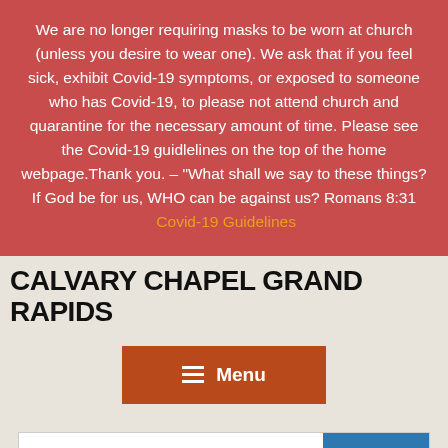We are no longer requiring masks to be worn at church (unless you desire to wear one). We ask that if you feel sick, exhibit Covid-19 symptoms, or exposed to someone who has Covid-19, to please not attend church and quarantine for the necessary amount of time. Please see the Covid-19 guidlelines on the top of the home webpage.Thank you. – "What shall we say to these things? If God be for us, WHO can be against us? Romans 8:31 Covid-19 Guidelines
CALVARY CHAPEL GRAND RAPIDS
≡  Menu
Search … SEARCH